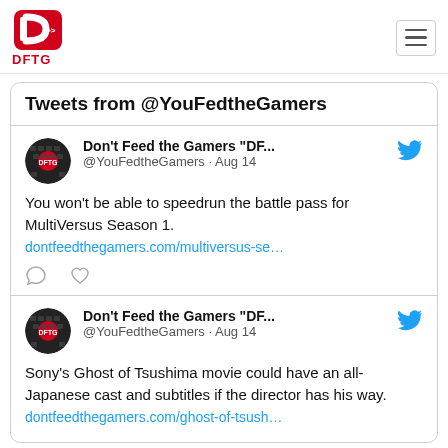DFTG
Tweets from @YouFedtheGamers
Don't Feed the Gamers "DF..." @YouFedtheGamers · Aug 14
You won't be able to speedrun the battle pass for MultiVersus Season 1.
dontfeedthegamers.com/multiversus-se…
Don't Feed the Gamers "DF..." @YouFedtheGamers · Aug 14
Sony's Ghost of Tsushima movie could have an all-Japanese cast and subtitles if the director has his way.
dontfeedthegamers.com/ghost-of-tsush…